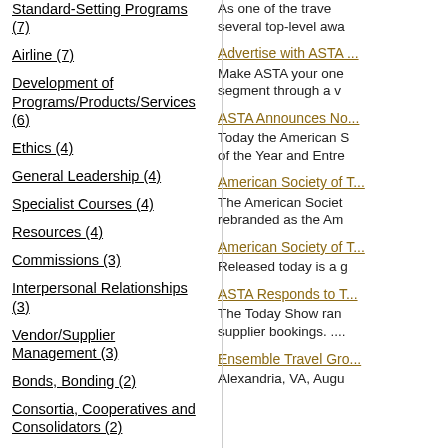Standard-Setting Programs (7)
Airline (7)
Development of Programs/Products/Services (6)
Ethics (4)
General Leadership (4)
Specialist Courses (4)
Resources (4)
Commissions (3)
Interpersonal Relationships (3)
Vendor/Supplier Management (3)
Bonds, Bonding (2)
Consortia, Cooperatives and Consolidators (2)
Fundraising/Development Programs (2)
As one of the travel... several top-level awa...
Advertise with ASTA ...
Make ASTA your one... segment through a v...
ASTA Announces No...
Today the American S... of the Year and Entre...
American Society of T...
The American Societ... rebranded as the Am...
American Society of T...
Released today is a g...
ASTA Responds to T...
The Today Show ran... supplier bookings. ....
Ensemble Travel Gro...
Alexandria, VA, Augu...